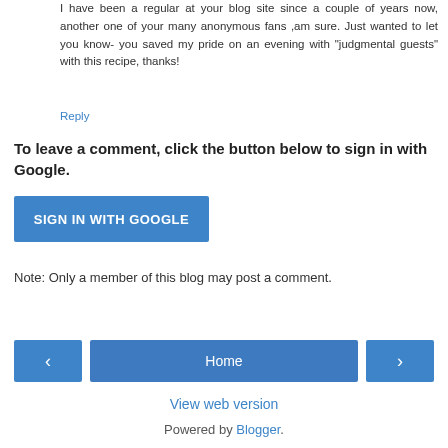I have been a regular at your blog site since a couple of years now, another one of your many anonymous fans ,am sure. Just wanted to let you know- you saved my pride on an evening with "judgmental guests" with this recipe, thanks!
Reply
To leave a comment, click the button below to sign in with Google.
[Figure (other): Blue button labeled SIGN IN WITH GOOGLE]
Note: Only a member of this blog may post a comment.
[Figure (other): Navigation buttons: left arrow, Home button, right arrow]
View web version
Powered by Blogger.